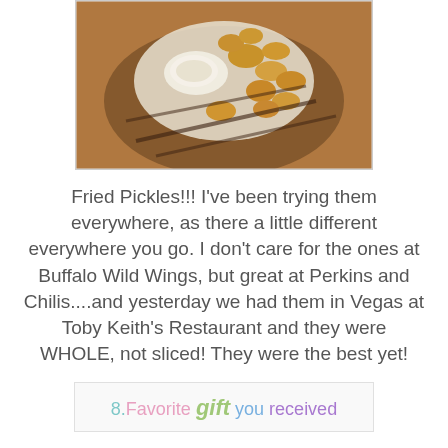[Figure (photo): A basket of golden fried pickles with a white bowl of dipping sauce, viewed from above on a wooden surface.]
Fried Pickles!!! I've been trying them everywhere, as there a little different everywhere you go. I don't care for the ones at Buffalo Wild Wings, but great at Perkins and Chilis....and yesterday we had them in Vegas at Toby Keith's Restaurant and they were WHOLE, not sliced! They were the best yet!
8. Favorite gift you received